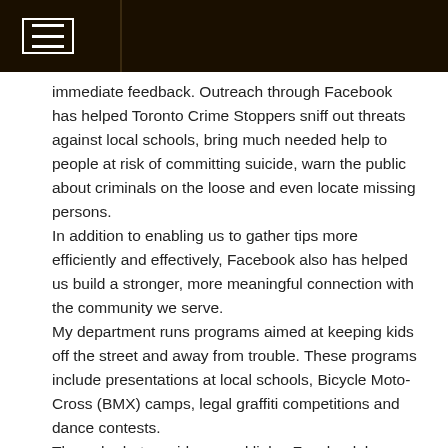immediate feedback. Outreach through Facebook has helped Toronto Crime Stoppers sniff out threats against local schools, bring much needed help to people at risk of committing suicide, warn the public about criminals on the loose and even locate missing persons. In addition to enabling us to gather tips more efficiently and effectively, Facebook also has helped us build a stronger, more meaningful connection with the community we serve. My department runs programs aimed at keeping kids off the street and away from trouble. These programs include presentations at local schools, Bicycle Moto-Cross (BMX) camps, legal graffiti competitions and dance contests. Through photos, videos, and links, Facebook has allowed us to promote these programs to those who need them most and hopefully leading to fewer people getting involved with crime because of boredom or lack of options.